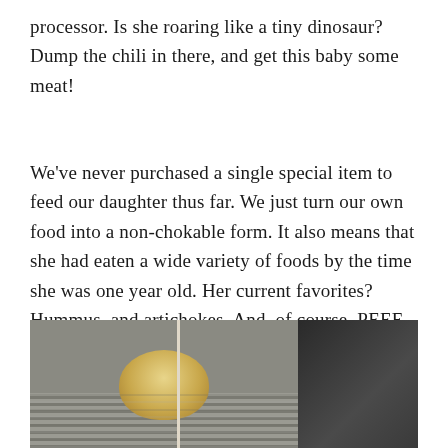processor. Is she roaring like a tiny dinosaur? Dump the chili in there, and get this baby some meat!
We've never purchased a single special item to feed our daughter thus far. We just turn our own food into a non-chokable form. It also means that she had eaten a wide variety of foods by the time she was one year old. Her current favorites? Hummus, and artichokes. And, of course, PEEE-ZZA!
[Figure (photo): Photo of a young child with blonde hair seen from behind, wearing a striped shirt, next to a person in a dark jacket]